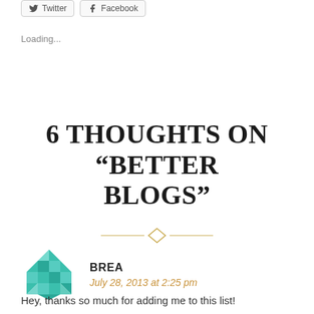[Figure (other): Twitter and Facebook share buttons at the top of the page]
Loading...
6 THOUGHTS ON “BETTER BLOGS”
[Figure (illustration): Decorative diamond divider ornament in gold/teal]
[Figure (illustration): Teal geometric avatar icon for commenter Brea]
BREA
July 28, 2013 at 2:25 pm
Hey, thanks so much for adding me to this list!